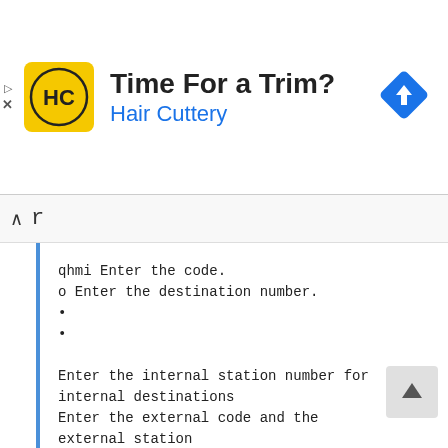[Figure (screenshot): Advertisement banner for Hair Cuttery with logo, title 'Time For a Trim?', subtitle 'Hair Cuttery', and a blue navigation/directions diamond icon on the right.]
qhmi Enter the code.
o Enter the destination number.
•
•

Enter the internal station number for internal destinations
Enter the external code and the external station
number for external destinations

: Confirm.

Save entry?